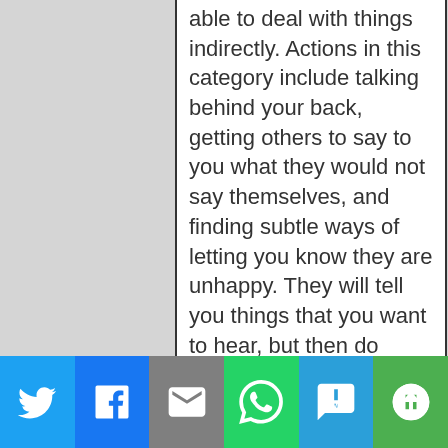able to deal with things indirectly. Actions in this category include talking behind your back, getting others to say to you what they would not say themselves, and finding subtle ways of letting you know they are unhappy. They will tell you things that you want to hear, but then do something to undermine that. An example of this would be if the manipulator says that “of course I want you to go back to school baby and you know I will always support you.” Fast forward to a night where you are either studying for an exam or
[Figure (infographic): Social media share bar with Twitter, Facebook, Email, WhatsApp, SMS, and More buttons]